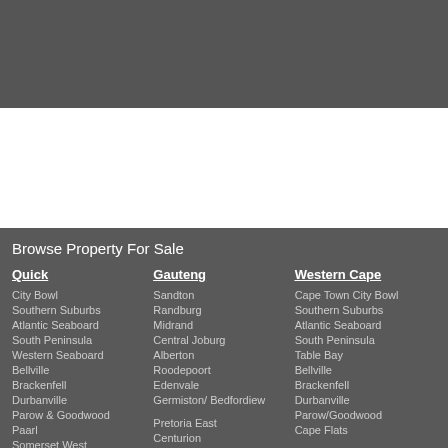Browse Property For Sale
Quick
City Bowl
Southern Suburbs
Atlantic Seaboard
South Peninsula
Western Seaboard
Bellville
Brackenfell
Durbanville
Parow & Goodwood
Paarl
Somerset West
Gauteng
Sandton
Randburg
Midrand
Central Joburg
Alberton
Roodepoort
Edenvale
Germiston/ Bedfordiew
Pretoria East
Centurion
Western Cape
Cape Town City Bowl
Southern Suburbs
Atlantic Seaboard
South Peninsula
Table Bay
Bellville
Brackenfell
Durbanville
Parow/Goodwood
Cape Flats